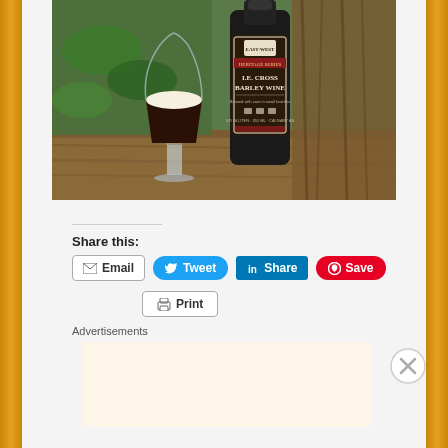[Figure (photo): A dark beer in a tulip glass with a cream head, next to a dark bottle labeled 'East-West Heritage Series I.E. Cross Barley Wine', both resting on a wooden surface with greenery in the background.]
Share this:
Email
Tweet
Share
Save
Print
Advertisements
Need a website quickly – and on a budget?